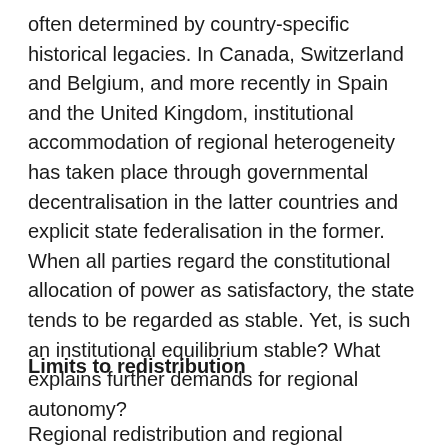often determined by country-specific historical legacies. In Canada, Switzerland and Belgium, and more recently in Spain and the United Kingdom, institutional accommodation of regional heterogeneity has taken place through governmental decentralisation in the latter countries and explicit state federalisation in the former. When all parties regard the constitutional allocation of power as satisfactory, the state tends to be regarded as stable. Yet, is such an institutional equilibrium stable? What explains further demands for regional autonomy?
Limits to redistribution
Regional redistribution and regional...